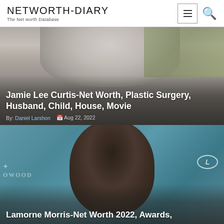NETWORTH-DIARY
The Net worth Database
[Figure (photo): Close-up photo of Jamie Lee Curtis with short silver/grey hair against a blurred background, with article title overlay at the bottom.]
Jamie Lee Curtis-Net Worth, Plastic Surgery, Husband, Child, House, Movie
By: Daniel Larshon  Aug 22, 2022
[Figure (photo): Photo of Lamorne Morris at an event with a teal/blue background showing a Lexus logo and partial text 'OWOOD', with article title overlay at the bottom.]
Lamorne Morris-Net Worth 2022, Awards,